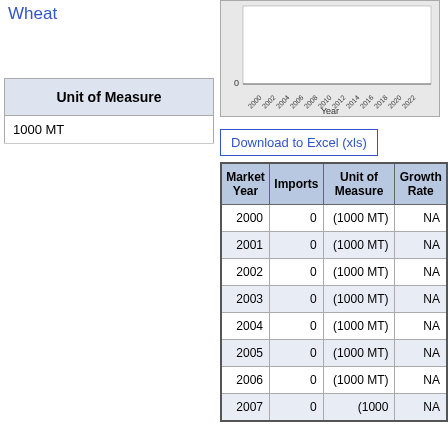Wheat
| Unit of Measure |
| --- |
| 1000 MT |
[Figure (bar-chart): Bar chart showing wheat imports over years 2000-2022, all bars appear at or near zero.]
Download to Excel (xls)
| Market Year | Imports | Unit of Measure | Growth Rate |
| --- | --- | --- | --- |
| 2000 | 0 | (1000 MT) | NA |
| 2001 | 0 | (1000 MT) | NA |
| 2002 | 0 | (1000 MT) | NA |
| 2003 | 0 | (1000 MT) | NA |
| 2004 | 0 | (1000 MT) | NA |
| 2005 | 0 | (1000 MT) | NA |
| 2006 | 0 | (1000 MT) | NA |
| 2007 | 0 | (1000 MT) | NA |